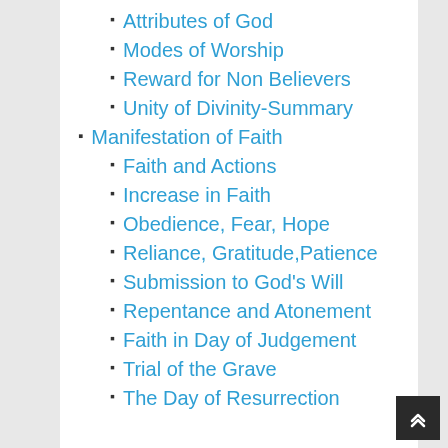Attributes of God
Modes of Worship
Reward for Non Believers
Unity of Divinity-Summary
Manifestation of Faith
Faith and Actions
Increase in Faith
Obedience, Fear, Hope
Reliance, Gratitude,Patience
Submission to God's Will
Repentance and Atonement
Faith in Day of Judgement
Trial of the Grave
The Day of Resurrection